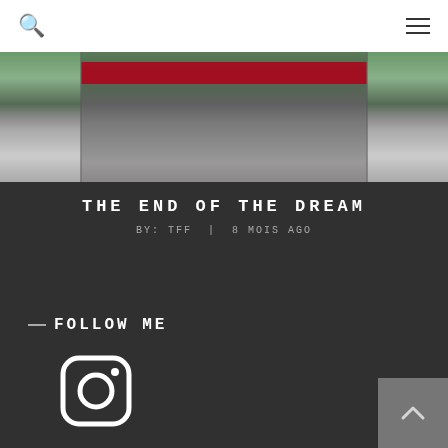[Figure (photo): Photo of a racing track or sports event with a red banner, green field, and road surface visible. Image is cropped at top.]
THE END OF THE DREAM
BY: TFF  |  8 MOIS AGO
FOLLOW ME
[Figure (logo): Instagram logo icon (white rounded square with circle inside)]